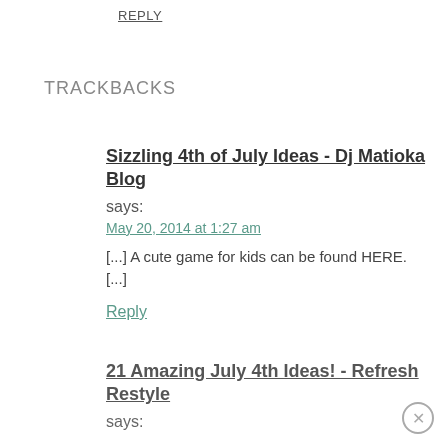REPLY
TRACKBACKS
Sizzling 4th of July Ideas - Dj Matioka Blog
says:
May 20, 2014 at 1:27 am
[...] A cute game for kids can be found HERE. [...]
Reply
21 Amazing July 4th Ideas! - Refresh Restyle
says: